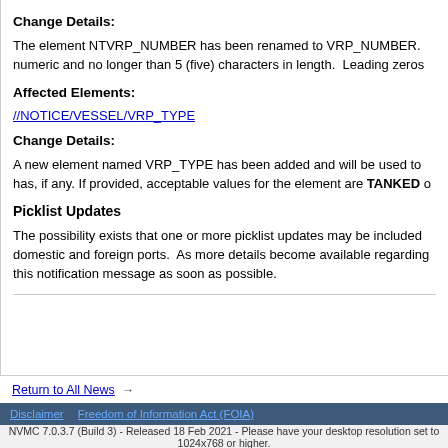Change Details:
The element NTVRP_NUMBER has been renamed to VRP_NUMBER. numeric and no longer than 5 (five) characters in length. Leading zeros
Affected Elements:
//NOTICE/VESSEL/VRP_TYPE
Change Details:
A new element named VRP_TYPE has been added and will be used to has, if any. If provided, acceptable values for the element are TANKED o
Picklist Updates
The possibility exists that one or more picklist updates may be included domestic and foreign ports. As more details become available regarding this notification message as soon as possible.
Return to All News →
Disclaimer   Freedom of Information Act (FOIA)
NVMC 7.0.3.7 (Build 3) - Released 18 Feb 2021 - Please have your desktop resolution set to 1024x768 or higher.